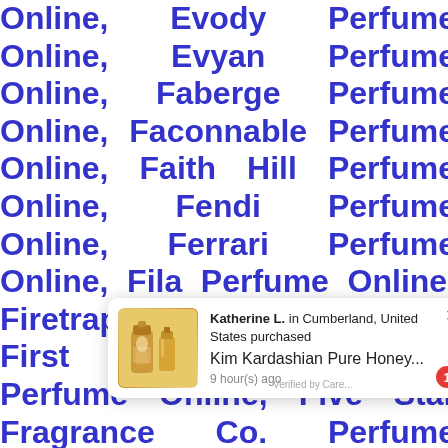Online, Evody Perfume Online, Evyan Perfume Online, Faberge Perfume Online, Faconnable Perfume Online, Faith Hill Perfume Online, Fendi Perfume Online, Ferrari Perfume Online, Fila Perfume Online, Firetrap Perfume Online, First American Brands Perfume Online, Five Star Fragrance Co. Perfume Online, Floris Perfume Online, Fragluxe Perfume Online, Fragrance Sport Perfume Online, Francesco Smalto Perfume Online, Francis Denney Perfume Online, Franc... olivier Perfume Online, ...me Online, ...han Perfume Online, Frederic Malle Perfume Online,
[Figure (other): A popup notification showing a product purchase alert. Contains an image of Kim Kardashian Pure Honey perfume bottles, text 'Katherine L. in Cumberland, United States purchased Kim Kardashian Pure Honey...' and '9 hour(s) ago', a close button (X), a red badge with number 1, and 'Verified by Care...' text at bottom.]